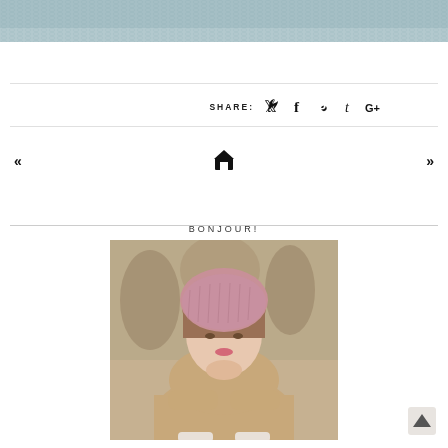[Figure (photo): Top portion of a photo showing a knitted blue/teal textile or sweater, cropped at the bottom edge.]
SHARE:
[Figure (infographic): Social media share icons: Twitter bird, Facebook f, Pinterest P, Tumblr t, Google+]
«
🏠
»
BONJOUR!
[Figure (photo): Portrait photo of a young woman wearing a pink/mauve knit hat and a tan cable-knit sweater, resting her chin on her hand, outdoors with blurred trees in background.]